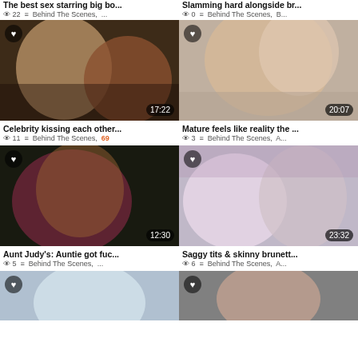The best sex starring big bo... | 👁 22 ≡ Behind The Scenes, ...
Slamming hard alongside br... | 👁 0 ≡ Behind The Scenes, B...
[Figure (photo): Video thumbnail with heart icon and duration 17:22]
[Figure (photo): Video thumbnail with heart icon and duration 20:07]
Celebrity kissing each other...
Mature feels like reality the ...
👁 11 ≡ Behind The Scenes, 69
👁 3 ≡ Behind The Scenes, A...
[Figure (photo): Video thumbnail with heart icon and duration 12:30]
[Figure (photo): Video thumbnail with heart icon and duration 23:32]
Aunt Judy's: Auntie got fuc...
Saggy tits & skinny brunett...
👁 5 ≡ Behind The Scenes, ...
👁 6 ≡ Behind The Scenes, A...
[Figure (photo): Video thumbnail bottom left with heart icon]
[Figure (photo): Video thumbnail bottom right with heart icon]